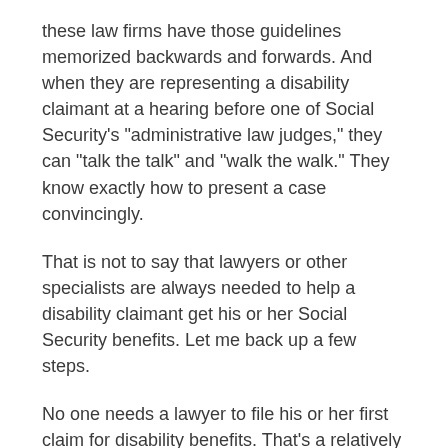these law firms have those guidelines memorized backwards and forwards. And when they are representing a disability claimant at a hearing before one of Social Security's "administrative law judges," they can "talk the talk" and "walk the walk." They know exactly how to present a case convincingly.
That is not to say that lawyers or other specialists are always needed to help a disability claimant get his or her Social Security benefits. Let me back up a few steps.
No one needs a lawyer to file his or her first claim for disability benefits. That's a relatively simple process of filling out a bunch of forms and then sitting back and waiting (usually about three months) for a decision. I have written past columns offering folks tips on filing for Social Security disability benefits.